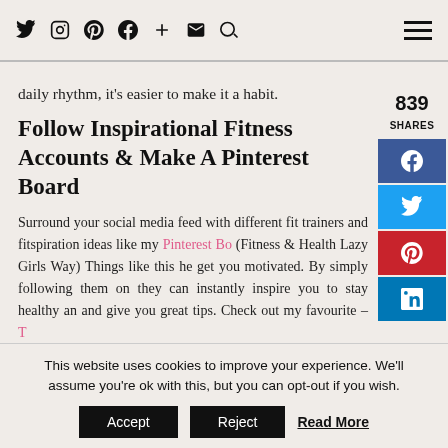Navigation bar with social icons: Twitter, Instagram, Pinterest, Facebook, Plus, Email, Search, and hamburger menu
daily rhythm, it's easier to make it a habit.
Follow Inspirational Fitness Accounts & Make A Pinterest Board
Surround your social media feed with different fit trainers and fitspiration ideas like my Pinterest Bo (Fitness & Health Lazy Girls Way) Things like this he get you motivated. By simply following them on they can instantly inspire you to stay healthy an and give you great tips. Check out my favourite – T Health Hacks for the Lazy Girl for inspo!
839 SHARES
This website uses cookies to improve your experience. We'll assume you're ok with this, but you can opt-out if you wish.
Accept   Reject   Read More